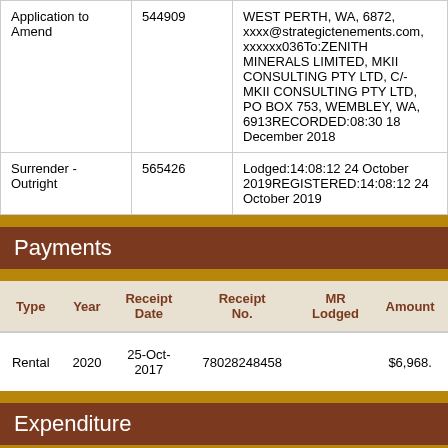|  |  |  |
| --- | --- | --- |
| Application to Amend | 544909 | WEST PERTH, WA, 6872, xxxx@strategictenements.com, xxxxxx036To:ZENITH MINERALS LIMITED, MKII CONSULTING PTY LTD, C/- MKII CONSULTING PTY LTD, PO BOX 753, WEMBLEY, WA, 6913RECORDED:08:30 18 December 2018 |
| Surrender - Outright | 565426 | Lodged:14:08:12 24 October 2019REGISTERED:14:08:12 24 October 2019 |
Payments
| Type | Year | Receipt Date | Receipt No. | MR Lodged | Amount |
| --- | --- | --- | --- | --- | --- |
| Rental | 2020 | 25-Oct-2017 | 78028248458 |  | $6,968. |
Expenditure